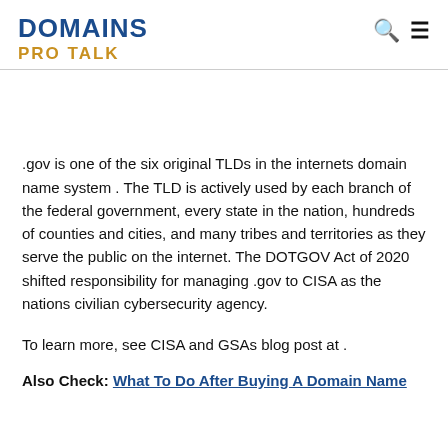DOMAINS PRO TALK
.gov is one of the six original TLDs in the internets domain name system . The TLD is actively used by each branch of the federal government, every state in the nation, hundreds of counties and cities, and many tribes and territories as they serve the public on the internet. The DOTGOV Act of 2020 shifted responsibility for managing .gov to CISA as the nations civilian cybersecurity agency.
To learn more, see CISA and GSAs blog post at .
Also Check: What To Do After Buying A Domain Name